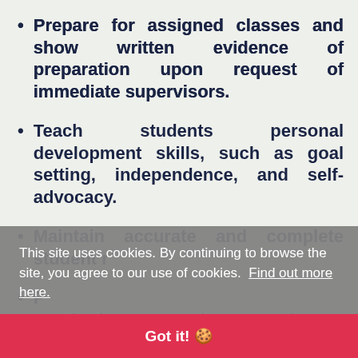Prepare for assigned classes and show written evidence of preparation upon request of immediate supervisors.
Teach students personal development skills, such as goal setting, independence, and self-advocacy.
Maintain accurate and complete student records, and submit attendance reports and other required reports and paperwork.
Participate in staff meetings and a...
This site uses cookies. By continuing to browse the site, you agree to our use of cookies. Find out more here.
Got it! 🍪